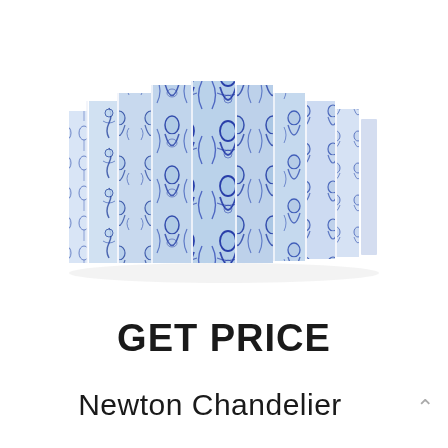[Figure (photo): A decorative chest or sideboard with blue and white Portuguese azulejo tile artwork depicting classical figures and ornamental patterns, shown in a 3D perspective view with multiple vertical panels.]
GET PRICE
Newton Chandelier